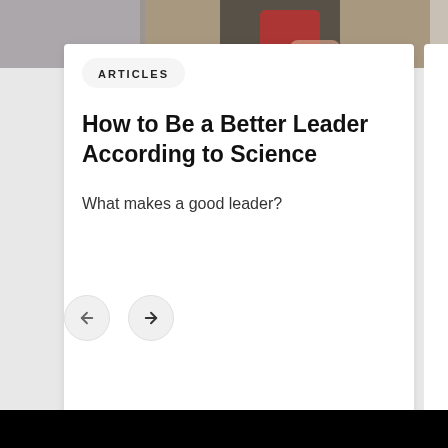[Figure (photo): Photo strip at top showing a person wearing a red top, partial view, against a warm background]
ARTICLES
How to Be a Better Leader According to Science
What makes a good leader?